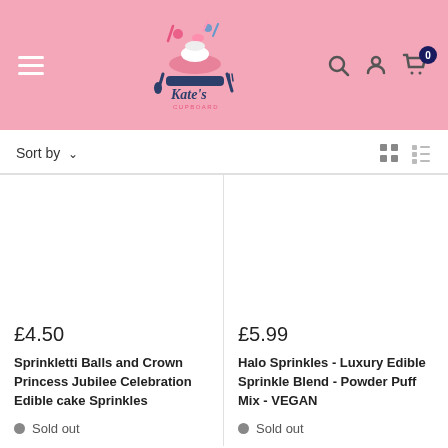[Figure (logo): Kate's Cupboard logo with illustrated cake and baking decorations on pink background]
Sort by ∨
£4.50
Sprinkletti Balls and Crown Princess Jubilee Celebration Edible cake Sprinkles
Sold out
£5.99
Halo Sprinkles - Luxury Edible Sprinkle Blend - Powder Puff Mix - VEGAN
Sold out